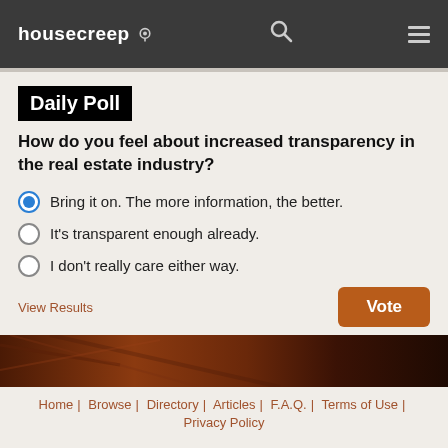housecreep
Daily Poll
How do you feel about increased transparency in the real estate industry?
Bring it on. The more information, the better.
It's transparent enough already.
I don't really care either way.
View Results
Vote
[Figure (photo): Dark reddish-brown textured image strip, possibly hair or wood]
Home | Browse | Directory | Articles | F.A.Q. | Terms of Use | Privacy Policy